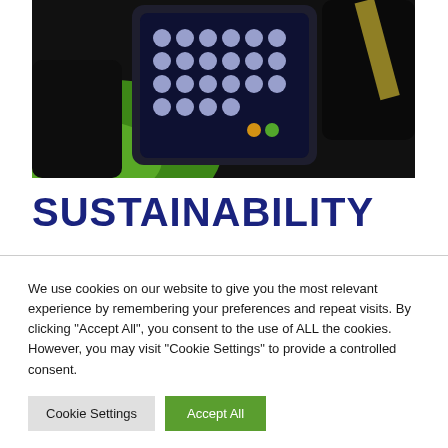[Figure (photo): Close-up photo of gloved hands holding a mobile phone with circular icon buttons visible on the screen, with green and dark background.]
SUSTAINABILITY
We use cookies on our website to give you the most relevant experience by remembering your preferences and repeat visits. By clicking "Accept All", you consent to the use of ALL the cookies. However, you may visit "Cookie Settings" to provide a controlled consent.